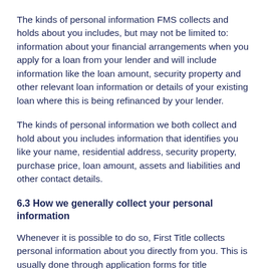The kinds of personal information FMS collects and holds about you includes, but may not be limited to: information about your financial arrangements when you apply for a loan from your lender and will include information like the loan amount, security property and other relevant loan information or details of your existing loan where this is being refinanced by your lender.
The kinds of personal information we both collect and hold about you includes information that identifies you like your name, residential address, security property, purchase price, loan amount, assets and liabilities and other contact details.
6.3 How we generally collect your personal information
Whenever it is possible to do so, First Title collects personal information about you directly from you. This is usually done through application forms for title